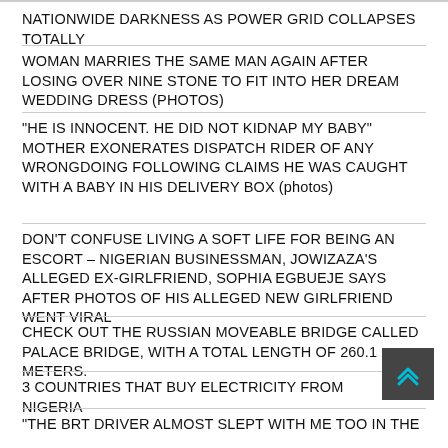NATIONWIDE DARKNESS AS POWER GRID COLLAPSES TOTALLY
WOMAN MARRIES THE SAME MAN AGAIN AFTER LOSING OVER NINE STONE TO FIT INTO HER DREAM WEDDING DRESS (PHOTOS)
"HE IS INNOCENT. HE DID NOT KIDNAP MY BABY" MOTHER EXONERATES DISPATCH RIDER OF ANY WRONGDOING FOLLOWING CLAIMS HE WAS CAUGHT WITH A BABY IN HIS DELIVERY BOX (photos)
DON'T CONFUSE LIVING A SOFT LIFE FOR BEING AN ESCORT – NIGERIAN BUSINESSMAN, JOWIZAZA'S ALLEGED EX-GIRLFRIEND, SOPHIA EGBUEJE SAYS AFTER PHOTOS OF HIS ALLEGED NEW GIRLFRIEND WENT VIRAL
CHECK OUT THE RUSSIAN MOVEABLE BRIDGE CALLED PALACE BRIDGE, WITH A TOTAL LENGTH OF 260.1 METERS.
3 COUNTRIES THAT BUY ELECTRICITY FROM NIGERIA
"THE BRT DRIVER ALMOST SLEPT WITH ME TOO IN THE